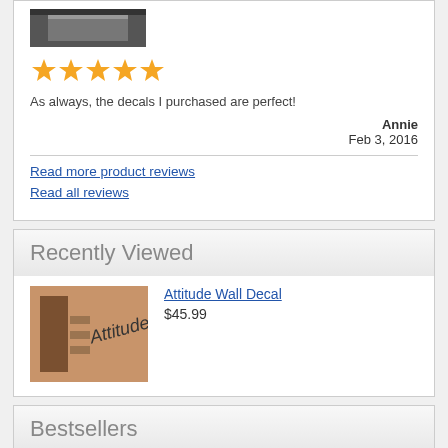[Figure (photo): Product thumbnail image of a bed/furniture item, dark colored]
[Figure (infographic): 5 orange/gold star rating icons]
As always, the decals I purchased are perfect!
Annie
Feb 3, 2016
Read more product reviews
Read all reviews
Recently Viewed
[Figure (photo): Interior room photo showing wall decal on an orange/tan wall with furniture]
Attitude Wall Decal
$45.99
Bestsellers
[Figure (photo): White draped fabric canopy over a doorway or bed]